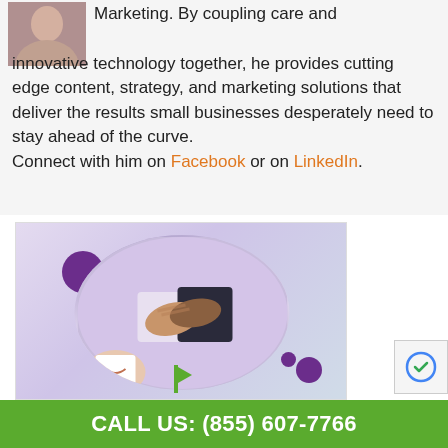Marketing. By coupling care and innovative technology together, he provides cutting edge content, strategy, and marketing solutions that deliver the results small businesses desperately need to stay ahead of the curve. Connect with him on Facebook or on LinkedIn.
[Figure (photo): Business handshake photo with purple decorative circles, person smiling in lower left corner, green and purple branded decorative elements]
CALL US: (855) 607-7766